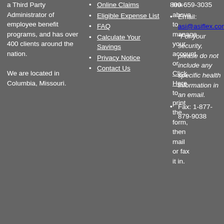a Third Party Administrator of employee benefit programs, and has over 400 clients around the nation. We are located in Columbia, Missouri.
Online Claims
Eligible Expense List
FAQ
Calculate Your Savings
Privacy Notice
Contact Us
link above to manage your account or Click Here to print the form, then mail or fax it in.
800-659-3035
Email: asi@asiflex.com
*For your security, please do not include any specific health information in an email.
Fax: 1-877-879-9038